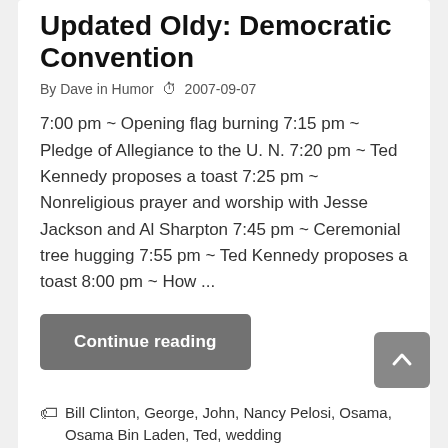Updated Oldy: Democratic Convention
By Dave in Humor  🕐 2007-09-07
7:00 pm ~ Opening flag burning 7:15 pm ~ Pledge of Allegiance to the U. N. 7:20 pm ~ Ted Kennedy proposes a toast 7:25 pm ~ Nonreligious prayer and worship with Jesse Jackson and Al Sharpton 7:45 pm ~ Ceremonial tree hugging 7:55 pm ~ Ted Kennedy proposes a toast 8:00 pm ~ How ...
Continue reading
Bill Clinton, George, John, Nancy Pelosi, Osama, Osama Bin Laden, Ted, wedding
Arriving in Honshu, Japan